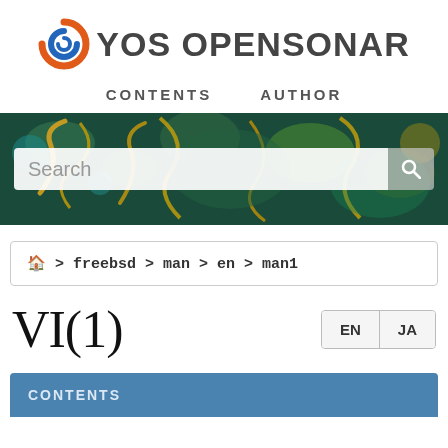[Figure (logo): YOS OPENSONAR logo with spiral icon in orange and blue]
CONTENTS   AUTHOR
[Figure (photo): Decorative banner with floral/peacock pattern in dark blue, green, and gold, with a search input overlay]
🏠 > freebsd > man > en > man1
VI(1)
EN  JA
CONTENTS